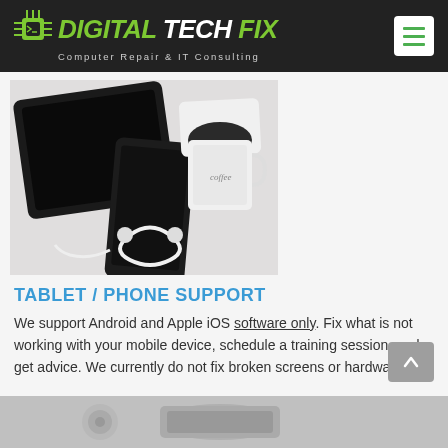DIGITAL TECH FIX — Computer Repair & IT Consulting
[Figure (photo): Overhead photo of tech devices: tablet, smartphone, white portable hard drive, white mug, and earphones/cable on a white surface]
TABLET / PHONE SUPPORT
We support Android and Apple iOS software only. Fix what is not working with your mobile device, schedule a training session, and get advice. We currently do not fix broken screens or hardware.
[Figure (photo): Partial view of another device/image at bottom of page]